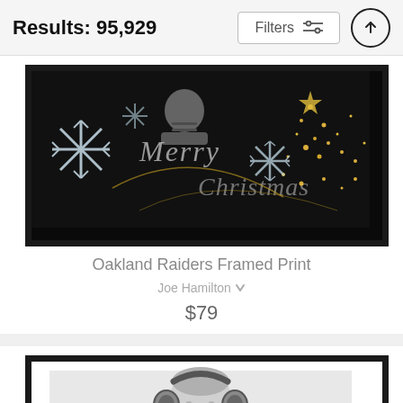Results: 95,929
[Figure (photo): Oakland Raiders Merry Christmas framed print with dark background, silver/white snowflakes, player silhouette, gold sparkles and cursive Merry Christmas text]
Oakland Raiders Framed Print
Joe Hamilton
$79
[Figure (photo): Black and white framed print showing a person wearing headphones, partial view cropped at bottom]